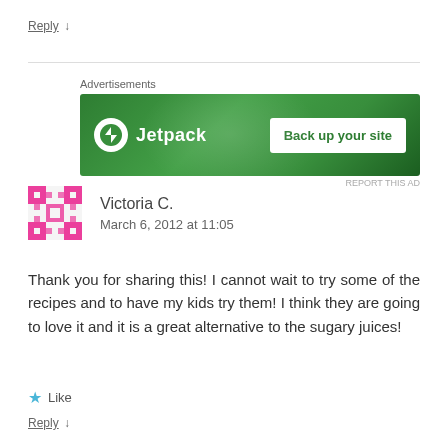Reply ↓
[Figure (illustration): Jetpack advertisement banner — green background with Jetpack logo and 'Back up your site' button]
Victoria C.
March 6, 2012 at 11:05
Thank you for sharing this! I cannot wait to try some of the recipes and to have my kids try them! I think they are going to love it and it is a great alternative to the sugary juices!
★ Like
Reply ↓